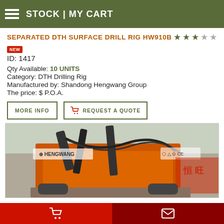STOCK | MY CART
SEPARATED DTH SURFACE DRILL RIG HW910B
NEW
ID: 1417
Qty Available: 10 UNITS
Category: DTH Drilling Rig
Manufactured by: Shandong Hengwang Group
The price: $ P.O.A.
[Figure (photo): Photo of the Separated DTH Surface Drill Rig HW910B, an orange heavy-duty drilling machine with Hengwang branding, CE certification marks visible, Chinese text in background.]
Cart icon | Envelope icon